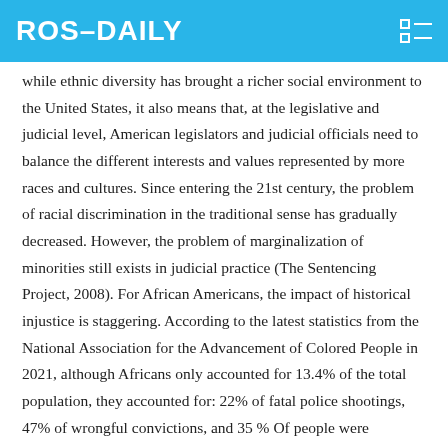ROS–DAILY
while ethnic diversity has brought a richer social environment to the United States, it also means that, at the legislative and judicial level, American legislators and judicial officials need to balance the different interests and values represented by more races and cultures. Since entering the 21st century, the problem of racial discrimination in the traditional sense has gradually decreased. However, the problem of marginalization of minorities still exists in judicial practice (The Sentencing Project, 2008). For African Americans, the impact of historical injustice is staggering. According to the latest statistics from the National Association for the Advancement of Colored People in 2021, although Africans only accounted for 13.4% of the total population, they accounted for: 22% of fatal police shootings, 47% of wrongful convictions, and 35 % Of people were sentenced to death. In state prisons, the rate of incarceration of African Americans is five times that of whites. Compared with prisoners of other races, African men face a disproportionately harsh